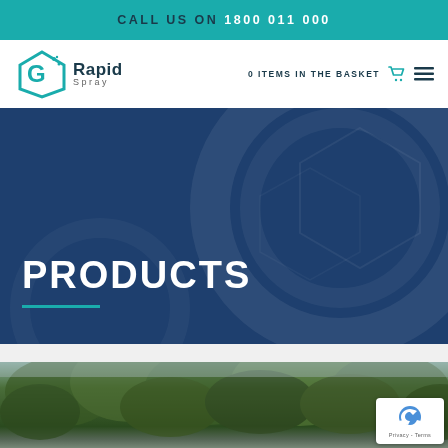CALL US ON 1800 011 000
[Figure (logo): Rapid Spray logo with hexagonal water drop icon, company name 'Rapid Spray']
0 ITEMS IN THE BASKET
PRODUCTS
[Figure (photo): Outdoor photo of dense tree canopy and foliage against a grey sky]